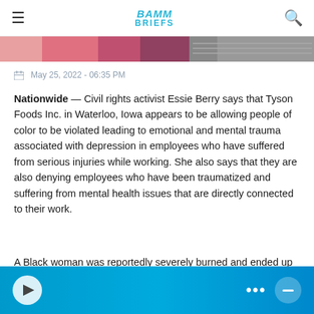BAMM BRIEFS
[Figure (photo): Cropped image strip showing partial photo content]
May 25, 2022 - 06:35 PM
Nationwide — Civil rights activist Essie Berry says that Tyson Foods Inc. in Waterloo, Iowa appears to be allowing people of color to be violated leading to emotional and mental trauma associated with depression in employees who have suffered from serious injuries while working. She also says that they are also denying employees who have been traumatized and suffering from mental health issues that are directly connected to their work.
A Black woman was reportedly severely burned and ended up with third-degree burns to her back that happened directly in